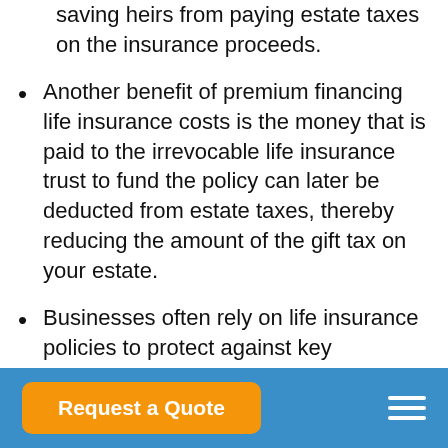saving heirs from paying estate taxes on the insurance proceeds.
Another benefit of premium financing life insurance costs is the money that is paid to the irrevocable life insurance trust to fund the policy can later be deducted from estate taxes, thereby reducing the amount of the gift tax on your estate.
Businesses often rely on life insurance policies to protect against key employees or partners passing away. Policies for key person life insurance or buy/sell agreements can be quite expensive. Taking out a life
Request a Quote